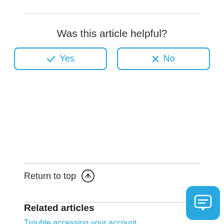Was this article helpful?
[Figure (other): Yes / No feedback buttons with checkmark and X icons, styled with blue border]
Return to top ↑
Related articles
Trouble accessing your account
FAQ: Vimeo's Repeat Infringer Policy
How does Vimeo determine the difference between pornography and artistic or non-sexual nudity?
Duplicate accounts on Vimeo
[Figure (other): Blue chat/message button widget in bottom-right corner]